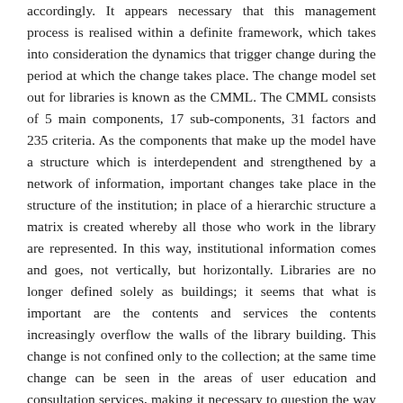accordingly. It appears necessary that this management process is realised within a definite framework, which takes into consideration the dynamics that trigger change during the period at which the change takes place. The change model set out for libraries is known as the CMML. The CMML consists of 5 main components, 17 sub-components, 31 factors and 235 criteria. As the components that make up the model have a structure which is interdependent and strengthened by a network of information, important changes take place in the structure of the institution; in place of a hierarchic structure a matrix is created whereby all those who work in the library are represented. In this way, institutional information comes and goes, not vertically, but horizontally. Libraries are no longer defined solely as buildings; it seems that what is important are the contents and services the contents increasingly overflow the walls of the library building. This change is not confined only to the collection; at the same time change can be seen in the areas of user education and consultation services, making it necessary to question the way in which the library provides services and to